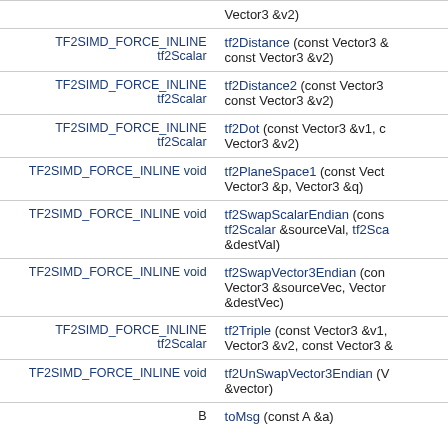| Return type | Function signature |
| --- | --- |
|  | Vector3 &v2) |
| TF2SIMD_FORCE_INLINE tf2Scalar | tf2Distance (const Vector3 & const Vector3 &v2) |
| TF2SIMD_FORCE_INLINE tf2Scalar | tf2Distance2 (const Vector3 const Vector3 &v2) |
| TF2SIMD_FORCE_INLINE tf2Scalar | tf2Dot (const Vector3 &v1, c Vector3 &v2) |
| TF2SIMD_FORCE_INLINE void | tf2PlaneSpace1 (const Vect Vector3 &p, Vector3 &q) |
| TF2SIMD_FORCE_INLINE void | tf2SwapScalarEndian (cons tf2Scalar &sourceVal, tf2Sca &destVal) |
| TF2SIMD_FORCE_INLINE void | tf2SwapVector3Endian (con Vector3 &sourceVec, Vector &destVec) |
| TF2SIMD_FORCE_INLINE tf2Scalar | tf2Triple (const Vector3 &v1, Vector3 &v2, const Vector3 & |
| TF2SIMD_FORCE_INLINE void | tf2UnSwapVector3Endian (V &vector) |
| B | toMsg (const A &a) |